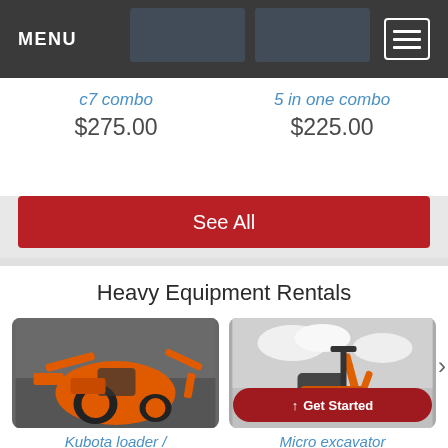MENU
c7 combo $275.00
5 in one combo $225.00
See All
Heavy Equipment Rentals
[Figure (photo): Orange Kubota loader tractor with backhoe attachment in a warehouse setting]
[Figure (photo): Orange mini/micro excavator against a cloudy sky background]
Get Started
Kubota loader /
Micro excavator